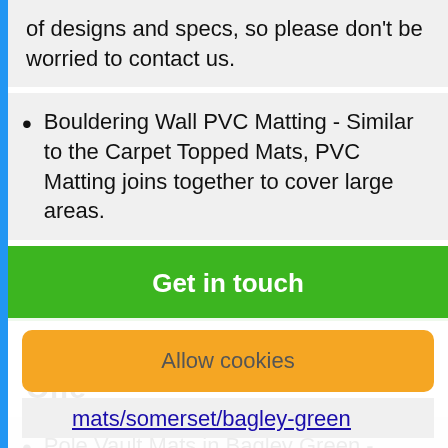of designs and specs, so please don't be worried to contact us.
Bouldering Wall PVC Matting - Similar to the Carpet Topped Mats, PVC Matting joins together to cover large areas.
Get in touch
Other Safety Products We Offer
Pole Vault Mats in Bagley Green - https://www.safetymats.org.uk/pole-vault-matting/somerset/bagley-green
Allow cookies
mats/somerset/bagley-green